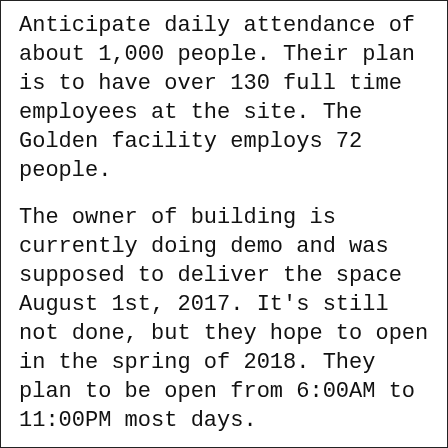Anticipate daily attendance of about 1,000 people. Their plan is to have over 130 full time employees at the site. The Golden facility employs 72 people.
The owner of building is currently doing demo and was supposed to deliver the space August 1st, 2017. It's still not done, but they hope to open in the spring of 2018. They plan to be open from 6:00AM to 11:00PM most days.
They used to do marketing by just "making a post on facebook saying today we'll open at 3pm" but they now have a marketing team who is working on a full plan.
The biggest draw for them to Englewood was the building and access: